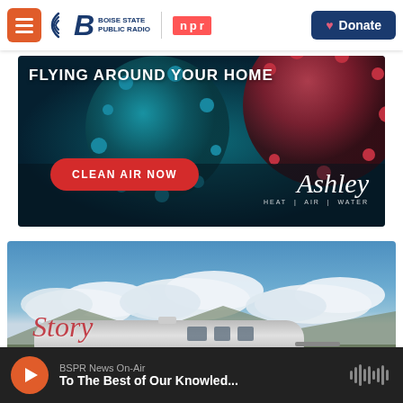Boise State Public Radio | NPR — Donate
[Figure (photo): Advertisement for Ashley Heat Air Water showing coronavirus-like particle with text 'FLYING AROUND YOUR HOME' and a red button 'CLEAN AIR NOW']
[Figure (photo): Photo of a silver Airstream trailer with 'Story' written in cursive red text, set against a blue sky with white clouds and mountains in the background]
BSPR News On-Air
To The Best of Our Knowled...